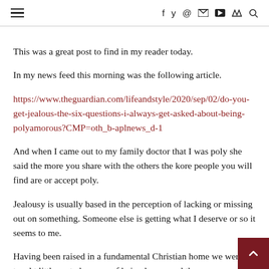≡   f  ✓  ○  ▶  ✉  )))  🔍
This was a great post to find in my reader today.
In my news feed this morning was the following article.
https://www.theguardian.com/lifeandstyle/2020/sep/02/do-you-get-jealous-the-six-questions-i-always-get-asked-about-being-polyamorous?CMP=oth_b-aplnews_d-1
And when I came out to my family doctor that I was poly she said the more you share with the others the kore people you will find are or accept poly.
Jealousy is usually based in the perception of lacking or missing out on something. Someone else is getting what I deserve or so it seems to me.
Having been raised in a fundamental Christian home we were taught little on to be wary of being happy and th monogamy is the way. (Even though the Old Testament